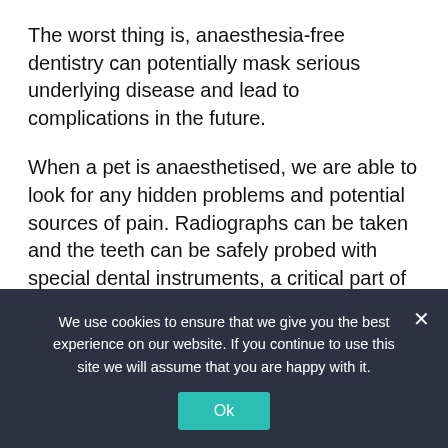The worst thing is, anaesthesia-free dentistry can potentially mask serious underlying disease and lead to complications in the future.
When a pet is anaesthetised, we are able to look for any hidden problems and potential sources of pain. Radiographs can be taken and the teeth can be safely probed with special dental instruments, a critical part of a dental procedure.
While your pet is asleep, we thoroughly clean their teeth including the area under the gums. It is essential to understand that this cannot be done correctly if your pet is awake. Removing only the calculus that is visible on the tooth (as done in anaesthesia-free...
We use cookies to ensure that we give you the best experience on our website. If you continue to use this site we will assume that you are happy with it.